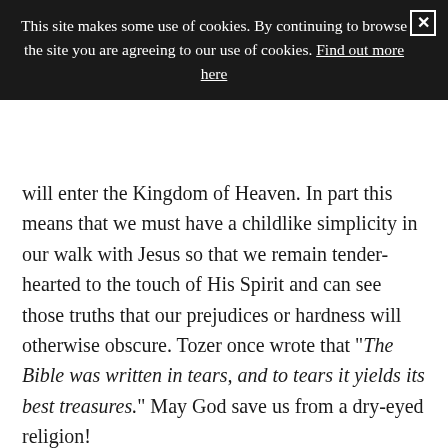This site makes some use of cookies. By continuing to browse the site you are agreeing to our use of cookies. Find out more here
will enter the Kingdom of Heaven. In part this means that we must have a childlike simplicity in our walk with Jesus so that we remain tender-hearted to the touch of His Spirit and can see those truths that our prejudices or hardness will otherwise obscure. Tozer once wrote that "The Bible was written in tears, and to tears it yields its best treasures." May God save us from a dry-eyed religion!
Only a very few of Maycomb's citizens weep over the injustice of Tom Robinson's conviction. Other townsfolk, such as the ladies' missionary circle, are shown to be hypocrites who seem concerned for the plight of a remote African tribe but are unable to love